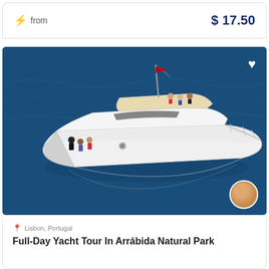⚡ from   $ 17.50
[Figure (photo): Aerial view of a white luxury motor yacht on dark blue ocean water. Several people are visible on the upper deck and side deck. The yacht is photographed from above at an angle.]
Lisbon, Portugal
Full-Day Yacht Tour In Arrábida Natural Park